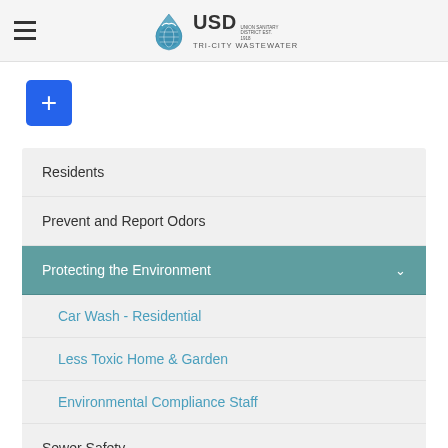[Figure (logo): USD Tri-City Wastewater logo with water droplet icon and text]
Residents
Prevent and Report Odors
Protecting the Environment
Car Wash - Residential
Less Toxic Home & Garden
Environmental Compliance Staff
Sewer Safety